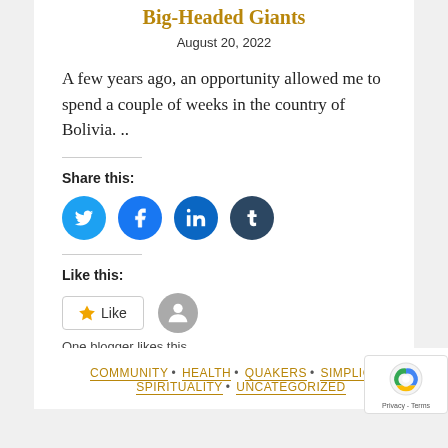Big-Headed Giants
August 20, 2022
A few years ago, an opportunity allowed me to spend a couple of weeks in the country of Bolivia. ..
Share this:
[Figure (infographic): Four circular social media share buttons: Twitter (blue), Facebook (blue), LinkedIn (blue), Tumblr (dark blue/grey)]
Like this:
[Figure (infographic): Like button widget showing a star icon with 'Like' text and a grey avatar, with 'One blogger likes this.' below]
One blogger likes this.
COMMUNITY • HEALTH • QUAKERS • SIMPLICITY • SPIRITUALITY • UNCATEGORIZED